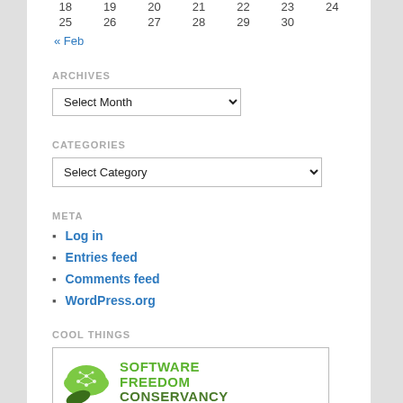| 18 | 19 | 20 | 21 | 22 | 23 | 24 |
| 25 | 26 | 27 | 28 | 29 | 30 |  |
« Feb
ARCHIVES
Select Month (dropdown)
CATEGORIES
Select Category (dropdown)
META
Log in
Entries feed
Comments feed
WordPress.org
COOL THINGS
[Figure (logo): Software Freedom Conservancy logo with green cloud/network graphic and text]